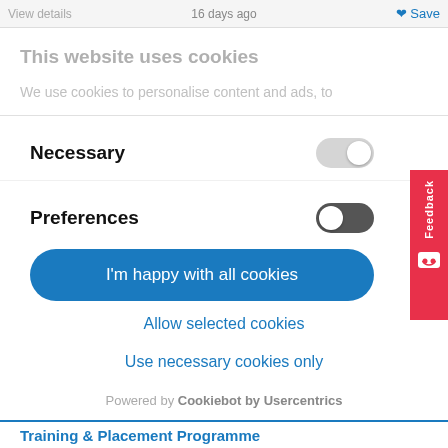View details   16 days ago   Save
This website uses cookies
We use cookies to personalise content and ads, to
Necessary
Preferences
I'm happy with all cookies
Allow selected cookies
Use necessary cookies only
Powered by Cookiebot by Usercentrics
Training & Placement Programme